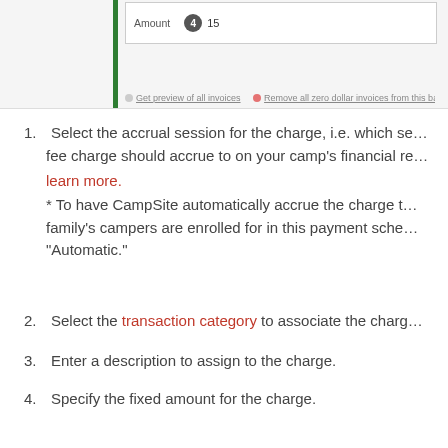[Figure (screenshot): Screenshot showing a form field labeled 'Amount' with a dark circular badge containing '4' and value '15'. Below are two link items: 'Get preview of all invoices' and 'Remove all zero dollar invoices from this batch'.]
Select the accrual session for the charge, i.e. which session the fee charge should accrue to on your camp's financial records. learn more. * To have CampSite automatically accrue the charge to the session family's campers are enrolled for in this payment schedule, select "Automatic."
Select the transaction category to associate the charge with.
Enter a description to assign to the charge.
Specify the fixed amount for the charge.
3: Preview All Invoices/Remove All Zero Dol
If needed, download a preview of all invoices before they're g... remove all zero-dollar invoices from this batch.